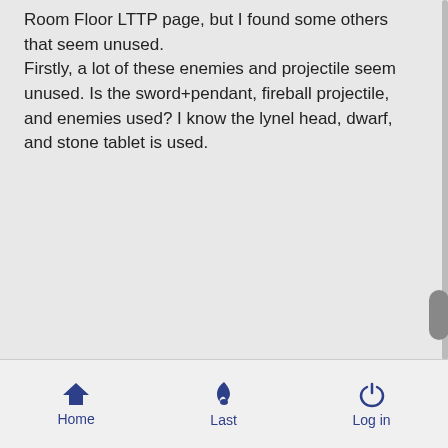Room Floor LTTP page, but I found some others that seem unused.
Firstly, a lot of these enemies and projectile seem unused. Is the sword+pendant, fireball projectile, and enemies used? I know the lynel head, dwarf, and stone tablet is used.
Home  Last  Log in